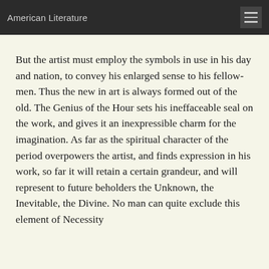American Literature
But the artist must employ the symbols in use in his day and nation, to convey his enlarged sense to his fellow-men. Thus the new in art is always formed out of the old. The Genius of the Hour sets his ineffaceable seal on the work, and gives it an inexpressible charm for the imagination. As far as the spiritual character of the period overpowers the artist, and finds expression in his work, so far it will retain a certain grandeur, and will represent to future beholders the Unknown, the Inevitable, the Divine. No man can quite exclude this element of Necessity from his labors.